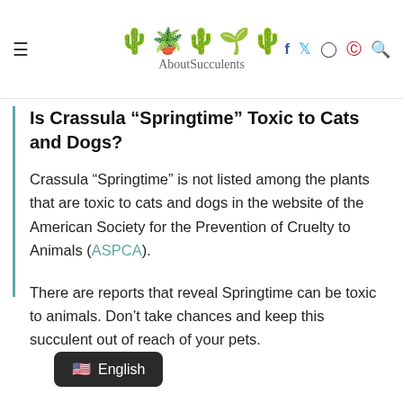AboutSucculents — navigation header with hamburger menu, logo, social icons (Facebook, Twitter, Instagram, Pinterest), and search
Is Crassula “Springtime” Toxic to Cats and Dogs?
Crassula “Springtime” is not listed among the plants that are toxic to cats and dogs in the website of the American Society for the Prevention of Cruelty to Animals (ASPCA).
There are reports that reveal Springtime can be toxic to animals. Don’t take chances and keep this succulent out of reach of your pets.
English